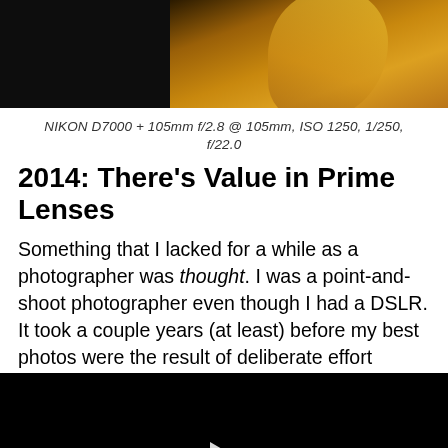[Figure (photo): Partial photo showing dark background on left and orange/amber tones on right, appearing to be a close-up photograph cut off at the top of the page]
NIKON D7000 + 105mm f/2.8 @ 105mm, ISO 1250, 1/250, f/22.0
2014: There’s Value in Prime Lenses
Something that I lacked for a while as a photographer was thought. I was a point-and-shoot photographer even though I had a DSLR. It took a couple years (at least) before my best photos were the result of deliberate effort
[Figure (other): Black video player block with a white play button triangle in the center]